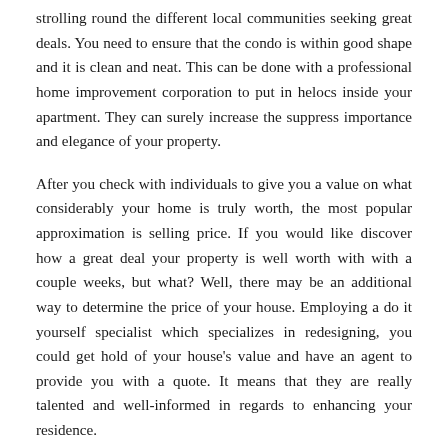strolling round the different local communities seeking great deals. You need to ensure that the condo is within good shape and it is clean and neat. This can be done with a professional home improvement corporation to put in helocs inside your apartment. They can surely increase the suppress importance and elegance of your property.
After you check with individuals to give you a value on what considerably your home is truly worth, the most popular approximation is selling price. If you would like discover how a great deal your property is well worth with with a couple weeks, but what? Well, there may be an additional way to determine the price of your house. Employing a do it yourself specialist which specializes in redesigning, you could get hold of your house's value and have an agent to provide you with a quote. It means that they are really talented and well-informed in regards to enhancing your residence.